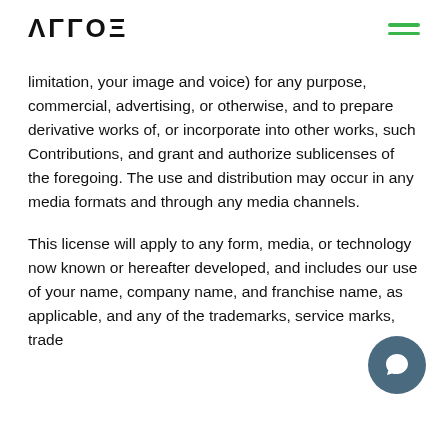ΑΓΓΟΞ
limitation, your image and voice) for any purpose, commercial, advertising, or otherwise, and to prepare derivative works of, or incorporate into other works, such Contributions, and grant and authorize sublicenses of the foregoing. The use and distribution may occur in any media formats and through any media channels.
This license will apply to any form, media, or technology now known or hereafter developed, and includes our use of your name, company name, and franchise name, as applicable, and any of the trademarks, service marks, trade